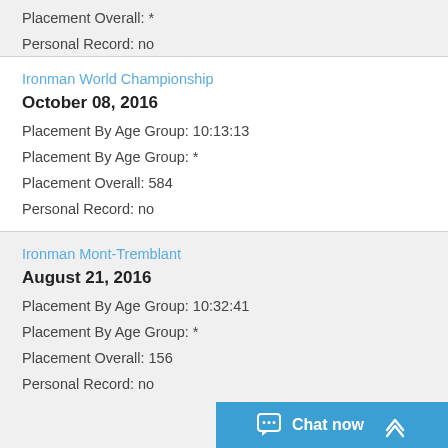Placement Overall: *
Personal Record: no
Ironman World Championship
October 08, 2016
Placement By Age Group: 10:13:13
Placement By Age Group: *
Placement Overall: 584
Personal Record: no
Ironman Mont-Tremblant
August 21, 2016
Placement By Age Group: 10:32:41
Placement By Age Group: *
Placement Overall: 156
Personal Record: no